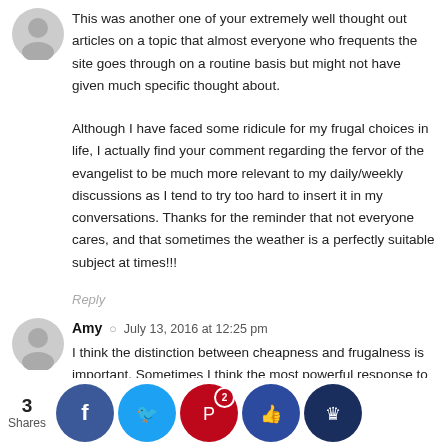This was another one of your extremely well thought out articles on a topic that almost everyone who frequents the site goes through on a routine basis but might not have given much specific thought about.
Although I have faced some ridicule for my frugal choices in life, I actually find your comment regarding the fervor of the evangelist to be much more relevant to my daily/weekly discussions as I tend to try too hard to insert it in my conversations. Thanks for the reminder that not everyone cares, and that sometimes the weather is a perfectly suitable subject at times!!!
Reply
Amy  ©  July 13, 2016 at 12:25 pm
I think the distinction between cheapness and frugalness is important. Sometimes I think the most powerful response to these questions is almost no response. But also frugal people can be very generous, throw great birthday parties etc. and I can't help myself catch the corners on that beautiful coffee th... moth... a son ... has a... his face from jamming in... the when he was 11 months old. Forgive...